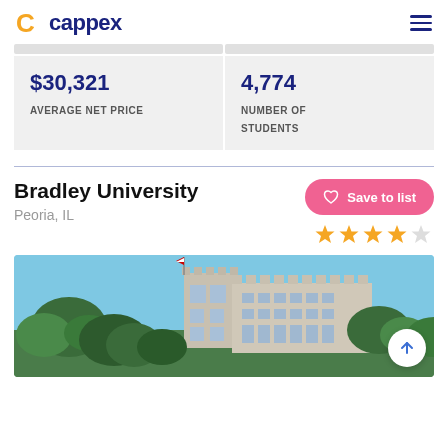cappex
| $30,321 AVERAGE NET PRICE | 4,774 NUMBER OF STUDENTS |
Bradley University
Peoria, IL
Save to list
[Figure (photo): Photo of Bradley University building — a large stone castle-like structure with crenellated towers, trees in foreground, blue sky with flag.]